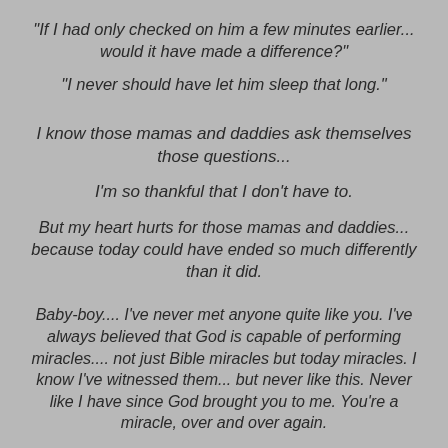"If I had only checked on him a few minutes earlier... would it have made a difference?"
"I never should have let him sleep that long."
I know those mamas and daddies ask themselves those questions...
I'm so thankful that I don't have to.
But my heart hurts for those mamas and daddies... because today could have ended so much differently than it did.
Baby-boy.... I've never met anyone quite like you. I've always believed that God is capable of performing miracles.... not just Bible miracles but today miracles. I know I've witnessed them... but never like this. Never like I have since God brought you to me. You're a miracle, over and over again.